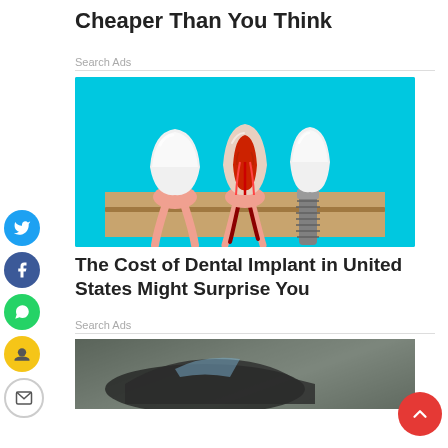Cheaper Than You Think
Search Ads
[Figure (illustration): Medical illustration of dental anatomy and implant cross-section on cyan background, showing three teeth: a healthy tooth, a cross-sectioned tooth showing root canal with red nerves/blood vessels, and a dental implant with titanium screw]
The Cost of Dental Implant in United States Might Surprise You
Search Ads
[Figure (photo): Partial photo of a car, dark tones, forest background]